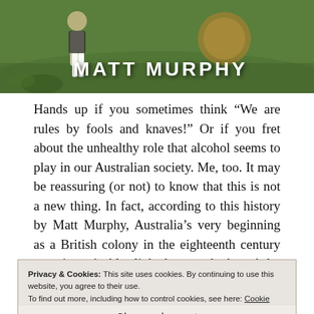[Figure (illustration): Book cover image showing a historical scene with a figure and the author name MATT MURPHY in large white bold letters on a green/outdoor background]
Hands up if you sometimes think “We are rules by fools and knaves!” Or if you fret about the unhealthy role that alcohol seems to play in our Australian society. Me, too. It may be reassuring (or not) to know that this is not a new thing. In fact, according to this history by Matt Murphy, Australia’s very beginning as a British colony in the eighteenth century was inextricably linked to and shaped by alcohol, and the idiocy and corruption that so often accompanies it. One type of alcohol (rum) played a greater
Privacy & Cookies: This site uses cookies. By continuing to use this website, you agree to their use.
To find out more, including how to control cookies, see here: Cookie Policy
Close and accept
know, for example, that the first fleet brought sufficient